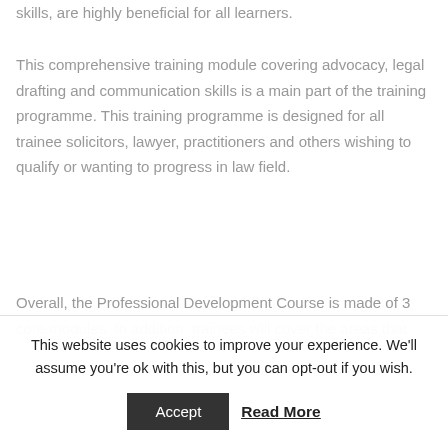skills, are highly beneficial for all learners.
This comprehensive training module covering advocacy, legal drafting and communication skills is a main part of the training programme. This training programme is designed for all trainee solicitors, lawyer, practitioners and others wishing to qualify or wanting to progress in law field.
Overall, the Professional Development Course is made of 3 core modules. In addition, trainees will cover the areas that
This website uses cookies to improve your experience. We'll assume you're ok with this, but you can opt-out if you wish.
Accept
Read More